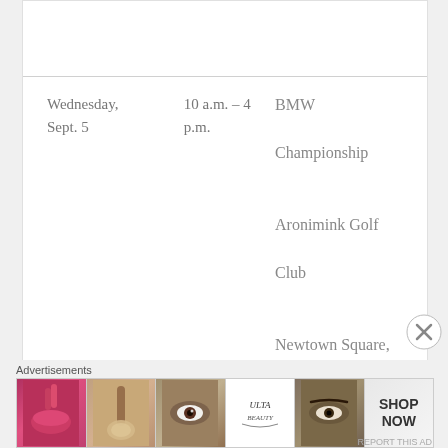| Date | Time | Event/Location |
| --- | --- | --- |
| Wednesday, Sept. 5 | 10 a.m. – 4 p.m. | BMW Championship

Aronimink Golf Club

Newtown Square, Penn. |
Advertisements
[Figure (infographic): Advertisement banner for Ulta Beauty showing 5 makeup/beauty images and a SHOP NOW call to action]